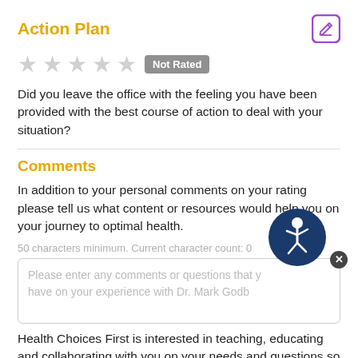Action Plan
[Figure (other): Five empty/grey star rating icons followed by a grey 'Not Rated' badge]
Did you leave the office with the feeling you have been provided with the best course of action to deal with your situation?
Comments
In addition to your personal comments on your rating please tell us what content or resources would help you on your journey to optimal health.
50 characters minimum. Current character count: 0
Please enter any comments or questions that you have on your experience with Dr. Mark Godb
Health Choices First is interested in teaching, educating and collaborating with you on your needs and questions so that you can form your own personal action plan.